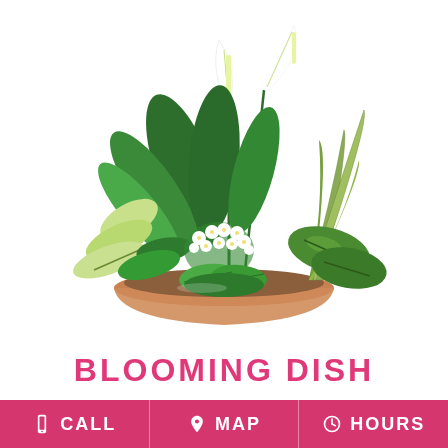[Figure (photo): A blooming dish garden arrangement featuring multiple plants in a terracotta bowl: peace lilies with white flowers, green leafy tropical foliage including dieffenbachia, maranta, pothos, and small white flowering plants, all arranged in a wide round terracotta pot.]
BLOOMING DISH
CALL  MAP  HOURS